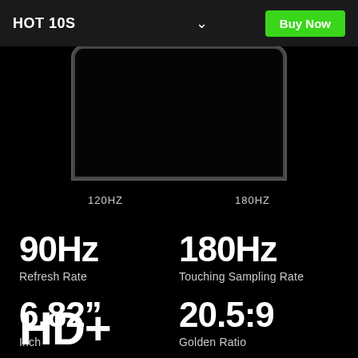HOT 10S
[Figure (photo): Smartphone top portion showing screen, with 120HZ and 180HZ labels below]
90Hz
Refresh Rate
180Hz
Touching Sampling Rate
6.82"
Inch
20.5:9
Golden Ratio
HD+